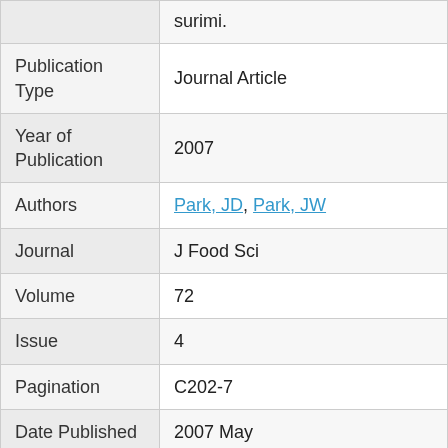| Field | Value |
| --- | --- |
|  | surimi. |
| Publication Type | Journal Article |
| Year of Publication | 2007 |
| Authors | Park, JD, Park, JW |
| Journal | J Food Sci |
| Volume | 72 |
| Issue | 4 |
| Pagination | C202-7 |
| Date Published | 2007 May |
| ISSN | 1750-3841 |